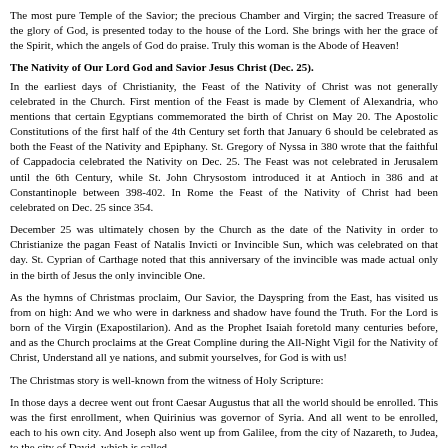The most pure Temple of the Savior; the precious Chamber and Virgin; the sacred Treasure of the glory of God, is presented today to the house of the Lord. She brings with her the grace of the Spirit, which the angels of God do praise. Truly this woman is the Abode of Heaven!
The Nativity of Our Lord God and Savior Jesus Christ (Dec. 25).
In the earliest days of Christianity, the Feast of the Nativity of Christ was not generally celebrated in the Church. First mention of the Feast is made by Clement of Alexandria, who mentions that certain Egyptians commemorated the birth of Christ on May 20. The Apostolic Constitutions of the first half of the 4th Century set forth that January 6 should be celebrated as both the Feast of the Nativity and Epiphany. St. Gregory of Nyssa in 380 wrote that the faithful of Cappadocia celebrated the Nativity on Dec. 25. The Feast was not celebrated in Jerusalem until the 6th Century, while St. John Chrysostom introduced it at Antioch in 386 and at Constantinople between 398-402. In Rome the Feast of the Nativity of Christ had been celebrated on Dec. 25 since 354.
December 25 was ultimately chosen by the Church as the date of the Nativity in order to Christianize the pagan Feast of Natalis Invicti or Invincible Sun, which was celebrated on that day. St. Cyprian of Carthage noted that this anniversary of the invincible was made actual only in the birth of Jesus the only invincible One.
As the hymns of Christmas proclaim, Our Savior, the Dayspring from the East, has visited us from on high: And we who were in darkness and shadow have found the Truth. For the Lord is born of the Virgin (Exapostilarion). And as the Prophet Isaiah foretold many centuries before, and as the Church proclaims at the Great Compline during the All-Night Vigil for the Nativity of Christ, Understand all ye nations, and submit yourselves, for God is with us!
The Christmas story is well-known from the witness of Holy Scripture:
In those days a decree went out front Caesar Augustus that all the world should be enrolled. This was the first enrollment, when Quirinius was governor of Syria. And all went to be enrolled, each to his own city. And Joseph also went up from Galilee, from the city of Nazareth, to Judea, to the city of David, which is called